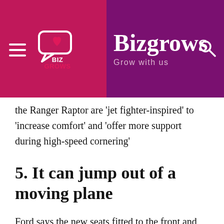Bizgrows – Grow with us
the Ranger Raptor are 'jet fighter-inspired' to 'increase comfort' and 'offer more support during high-speed cornering'
5. It can jump out of a moving plane
Ford says the new seats fitted to the front and rear of the Ranger Raptor are 'jet fighter-inspired' to 'increase comfort' and 'offer more support during high-speed cornering'. They're also there to keep you in place if you drive your pick-up out the back of a